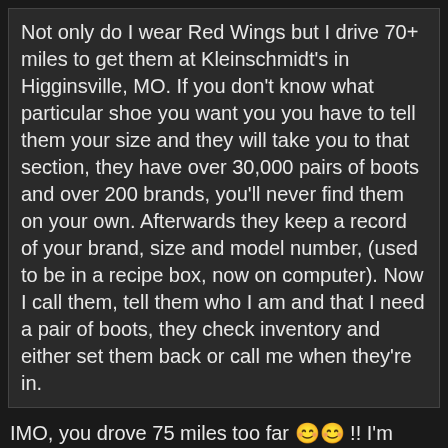Not only do I wear Red Wings but I drive 70+ miles to get them at Kleinschmidt's in Higginsville, MO. If you don't know what particular shoe you want you you have to tell them your size and they will take you to that section, they have over 30,000 pairs of boots and over 200 brands, you'll never find them on your own. Afterwards they keep a record of your brand, size and model number, (used to be in a recipe box, now on computer). Now I call them, tell them who I am and that I need a pair of boots, they check inventory and either set them back or call me when they're in.
IMO, you drove 75 miles too far 😊😊 !! I'm going to see if MASON boots/shoes are still available, a MUCH less expensive option 😂😂